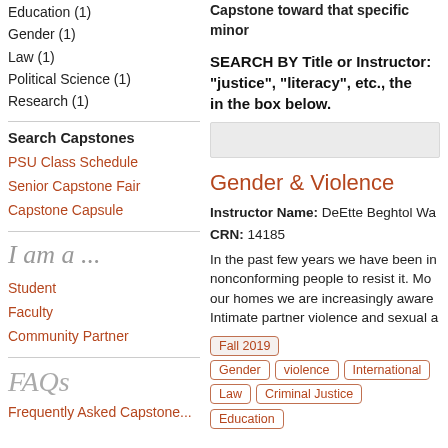Education (1)
Gender (1)
Law (1)
Political Science (1)
Research (1)
Search Capstones
PSU Class Schedule
Senior Capstone Fair
Capstone Capsule
I am a ...
Student
Faculty
Community Partner
FAQs
Frequently Asked Capstone...
Capstone toward that specific minor
SEARCH BY Title or Instructor: "justice", "literacy", etc., the in the box below.
Gender & Violence
Instructor Name: DeEtte Beghtol Wa
CRN: 14185
In the past few years we have been in nonconforming people to resist it. Mo our homes we are increasingly aware Intimate partner violence and sexual a
Fall 2019
Gender
violence
International
Law
Criminal Justice
Education